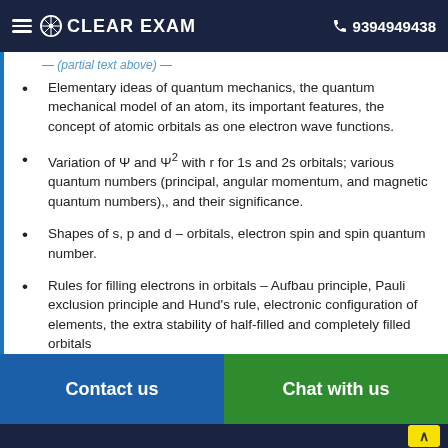CLEAR EXAM  9394949438
Elementary ideas of quantum mechanics, the quantum mechanical model of an atom, its important features, the concept of atomic orbitals as one electron wave functions.
Variation of Ψ and Ψ2 with r for 1s and 2s orbitals; various quantum numbers (principal, angular momentum, and magnetic quantum numbers),, and their significance.
Shapes of s, p and d – orbitals, electron spin and spin quantum number.
Rules for filling electrons in orbitals – Aufbau principle, Pauli exclusion principle and Hund's rule, electronic configuration of elements, the extra stability of half-filled and completely filled orbitals
Contact us   Chat with us